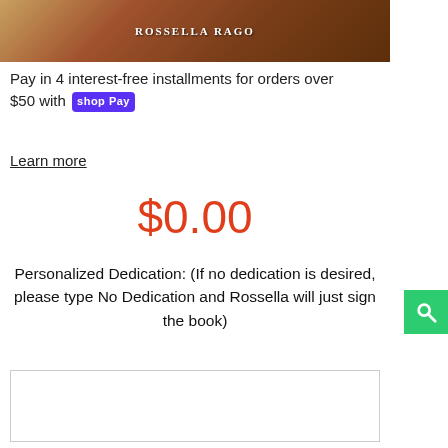[Figure (photo): Top portion of a cookbook cover showing food items on a wooden board with text 'ROSSELLA RAGO' overlaid in white letters]
Pay in 4 interest-free installments for orders over $50 with Shop Pay
Learn more
$0.00
Personalized Dedication: (If no dedication is desired, please type No Dedication and Rossella will just sign the book)
[Figure (other): Empty text input area / textarea for entering dedication text]